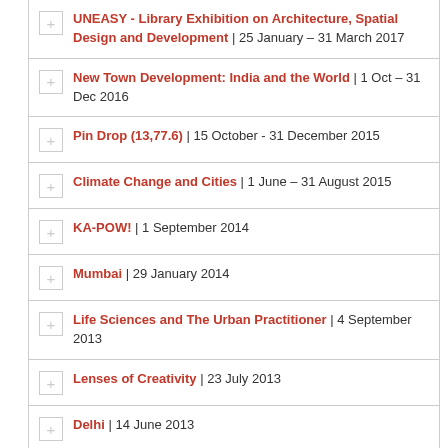UNEASY - Library Exhibition on Architecture, Spatial Design and Development | 25 January – 31 March 2017
New Town Development: India and the World | 1 Oct – 31 Dec 2016
Pin Drop (13,77.6) | 15 October - 31 December 2015
Climate Change and Cities | 1 June – 31 August 2015
KA-POW! | 1 September 2014
Mumbai | 29 January 2014
Life Sciences and The Urban Practitioner | 4 September 2013
Lenses of Creativity | 23 July 2013
Delhi | 14 June 2013